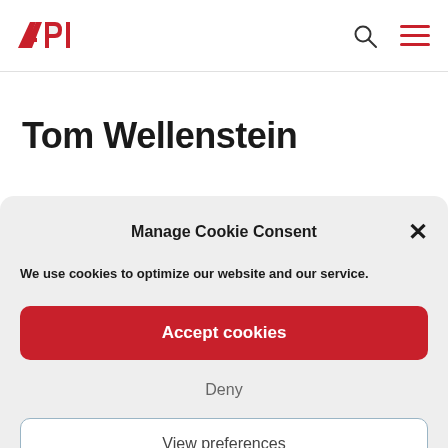API [logo] [search icon] [menu icon]
Tom Wellenstein
Manage Cookie Consent
We use cookies to optimize our website and our service.
Accept cookies
Deny
View preferences